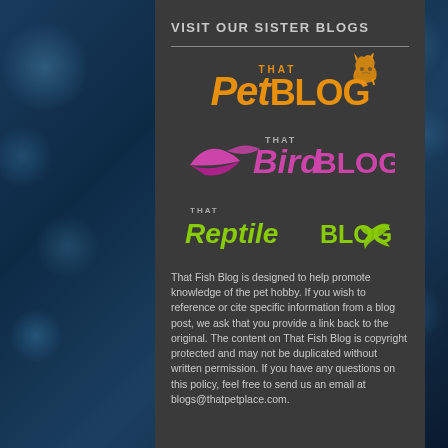VISIT OUR SISTER BLOGS
[Figure (logo): That Pet Blog logo in orange with cat silhouette]
[Figure (logo): That Bird Blog logo in pink/magenta with bird wing]
[Figure (logo): That Reptile Blog logo in green with lizard tail]
That Fish Blog is designed to help promote knowledge of the pet hobby. If you wish to reference or cite specific information from a blog post, we ask that you provide a link back to the original. The content on That Fish Blog is copyright protected and may not be duplicated without written permission. If you have any questions on this policy, feel free to send us an email at blogs@thatpetplace.com.